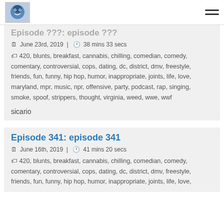Logo and navigation hamburger menu
Episode ???: episode ???
June 23rd, 2019 | 38 mins 33 secs
420, blunts, breakfast, cannabis, chilling, comedian, comedy, comentary, controversial, cops, dating, dc, district, dmv, freestyle, friends, fun, funny, hip hop, humor, inappropriate, joints, life, love, maryland, mpr, music, npr, offensive, party, podcast, rap, singing, smoke, spoof, strippers, thought, virginia, weed, wwe, wwf
sicario
Episode 341: episode 341
June 16th, 2019 | 41 mins 20 secs
420, blunts, breakfast, cannabis, chilling, comedian, comedy, comentary, controversial, cops, dating, dc, district, dmv, freestyle, friends, fun, funny, hip hop, humor, inappropriate, joints, life, love,